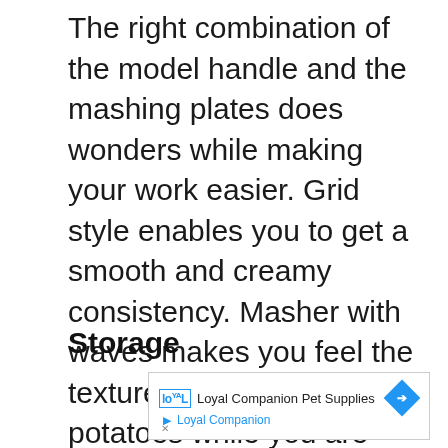The right combination of the model handle and the mashing plates does wonders while making your work easier. Grid style enables you to get a smooth and creamy consistency. Masher with waves makes you feel the texture of your mashed potatoes while you are eating. Stainless steel mashing plates are the best they will give serve over some time.
Storage
[Figure (other): Advertisement box for Loyal Companion Pet Supplies with logo, brand name, directional arrow icon, play button, and close button.]